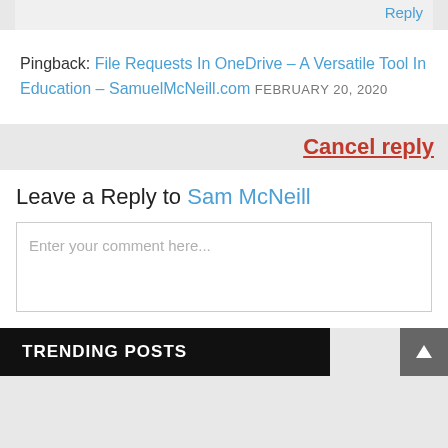Reply
Pingback: File Requests In OneDrive – A Versatile Tool In Education – SamuelMcNeill.com FEBRUARY 20, 2020
Cancel reply
Leave a Reply to Sam McNeill
Enter your comment here...
TRENDING POSTS